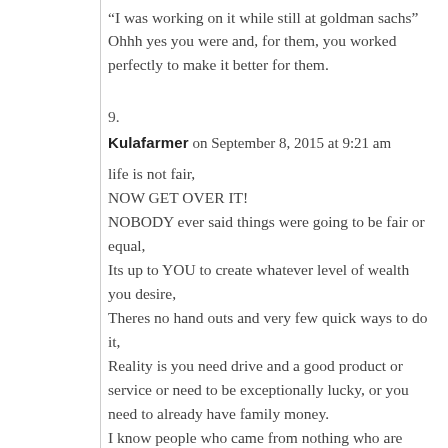“I was working on it while still at goldman sachs” Ohhh yes you were and, for them, you worked perfectly to make it better for them.
9.
Kulafarmer on September 8, 2015 at 9:21 am
life is not fair,
NOW GET OVER IT!
NOBODY ever said things were going to be fair or equal,
Its up to YOU to create whatever level of wealth you desire,
Theres no hand outs and very few quick ways to do it,
Reality is you need drive and a good product or service or need to be exceptionally lucky, or you need to already have family money.
I know people who came from nothing who are wealthy, i also know people from wealthy families who have pissed away huge sums of money and are near